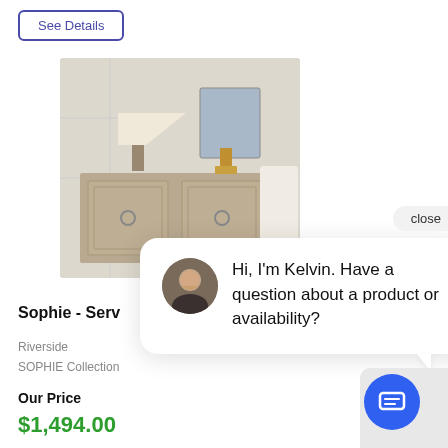See Details
[Figure (photo): A light wood sideboard/buffet cabinet with two doors, decorative ring pulls, topped with a white table lamp and gold decorative items, against a light paneled wall with abstract artwork.]
close
[Figure (photo): Avatar photo of a smiling man named Kelvin, customer service agent.]
Hi, I'm Kelvin. Have a question about a product or availability?
Sophie - Serv
Riverside
SOPHIE Collection
Our Price
$1,494.00